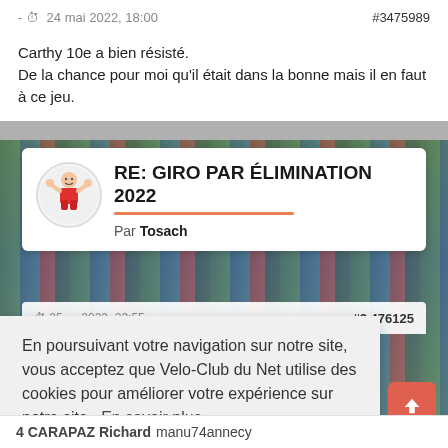- 24 mai 2022, 18:00   #3475989
Carthy 10e a bien résisté.
De la chance pour moi qu'il était dans la bonne mais il en faut à ce jeu.
RE: GIRO PAR ÉLIMINATION 2022
Par Tosach
#3476125
En poursuivant votre navigation sur notre site, vous acceptez que Velo-Club du Net utilise des cookies pour améliorer votre expérience sur notre site.  En savoir plus
J'ai compris
4 CARAPAZ Richard manu74annecy